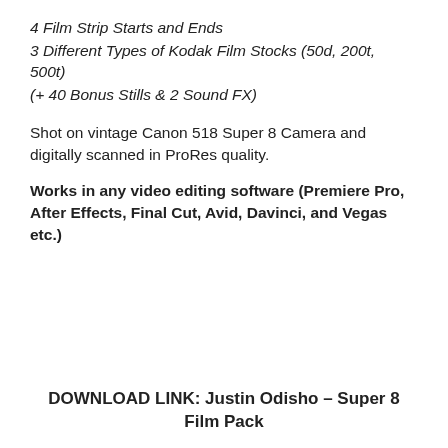4 Film Strip Starts and Ends
3 Different Types of Kodak Film Stocks (50d, 200t, 500t)
(+ 40 Bonus Stills & 2 Sound FX)
Shot on vintage Canon 518 Super 8 Camera and digitally scanned in ProRes quality.
Works in any video editing software (Premiere Pro, After Effects, Final Cut, Avid, Davinci, and Vegas etc.)
DOWNLOAD LINK: Justin Odisho – Super 8 Film Pack